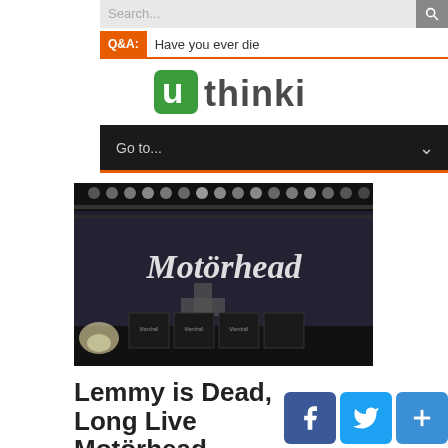Search...
Q&A: Have you ever die
[Figure (logo): Uthinki logo - green square U icon with 'uthinki' text in green and grey]
Go to...
[Figure (photo): Motörhead concert stage with large band logo backdrop, Marshall amplifiers, and red banner flags]
Lemmy is Dead, Long Live Motörhead